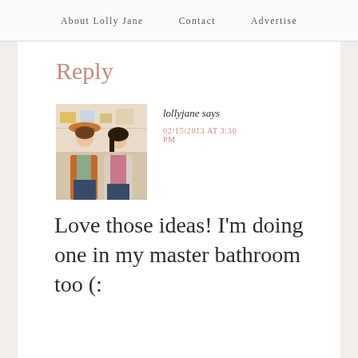About Lolly Jane   Contact   Advertise
Reply
[Figure (photo): Two women standing together smiling, one wearing an orange/rust cardigan and hat, the other in a pink top and light cardigan, in a store setting]
lollyjane says
02/15/2013 AT 3:36 PM
Love those ideas! I'm doing one in my master bathroom too (: